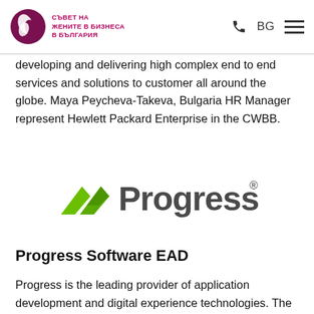СЪВЕТ НА ЖЕНИТЕ В БИЗНЕСА В БЪЛГАРИЯ | BG
developing and delivering high complex end to end services and solutions to customer all around the globe. Maya Peycheva-Takeva, Bulgaria HR Manager represent Hewlett Packard Enterprise in the CWBB.
[Figure (logo): Progress Software logo — green angular arrow/chevron icon followed by 'Progress' wordmark in dark gray with registered trademark symbol]
Progress Software EAD
Progress is the leading provider of application development and digital experience technologies. The